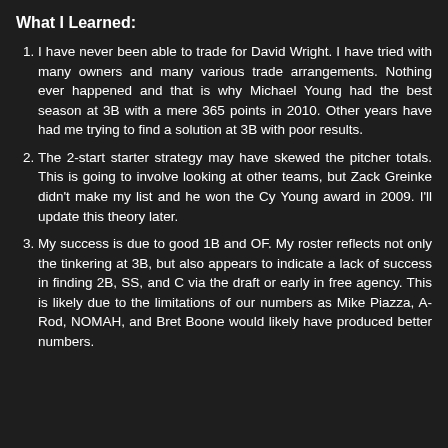What I Learned:
I have never been able to trade for David Wright. I have tried with many owners and many various trade arrangements. Nothing ever happened and that is why Michael Young had the best season at 3B with a mere 365 points in 2010. Other years have had me trying to find a solution at 3B with poor results.
The 2-start starter strategy may have skewed the pitcher totals. This is going to involve looking at other teams, but Zack Greinke didn't make my list and he won the Cy Young award in 2009. I'll update this theory later.
My success is due to good 1B and OF. My roster reflects not only the tinkering at 3B, but also appears to indicate a lack of success in finding 2B, SS, and C via the draft or early in free agency. This is likely due to the limitations of our numbers as Mike Piazza, A-Rod, NOMAH, and Bret Boone would likely have produced better numbers.